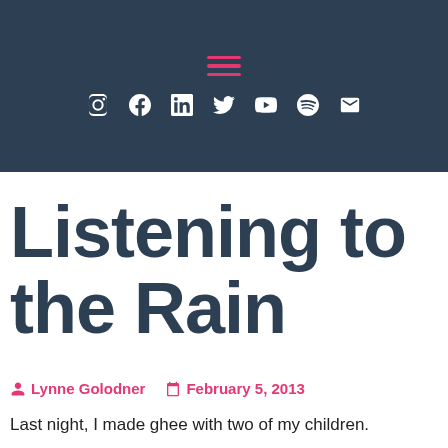[Figure (screenshot): Dark navy header bar with hamburger menu icon in pink/red and social media icons (Instagram, Facebook, LinkedIn, Twitter, YouTube, Spotify, Email) in white]
Listening to the Rain
Lynne Golodner   February 5, 2013
Last night, I made ghee with two of my children.